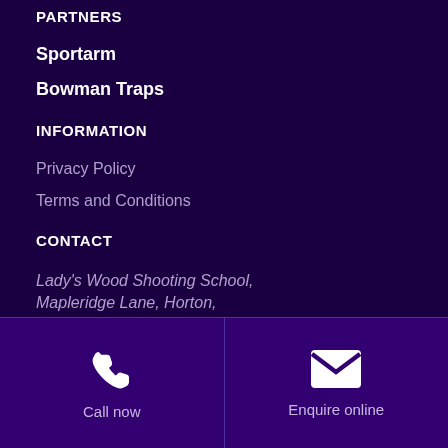PARTNERS
Sportarm
Bowman Traps
INFORMATION
Privacy Policy
Terms and Conditions
CONTACT
Lady's Wood Shooting School,
Mapleridge Lane, Horton,
Call now
Enquire online